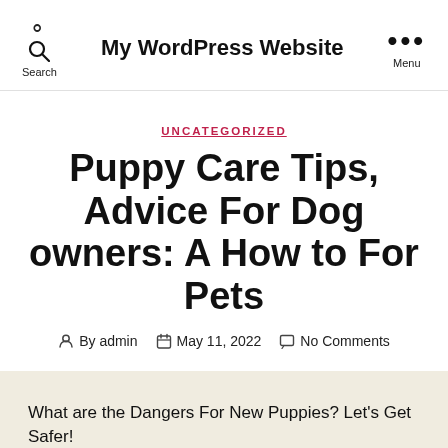Search | My WordPress Website | Menu
UNCATEGORIZED
Puppy Care Tips, Advice For Dog owners: A How to For Pets
By admin   May 11, 2022   No Comments
What are the Dangers For New Puppies? Let's Get Safer!